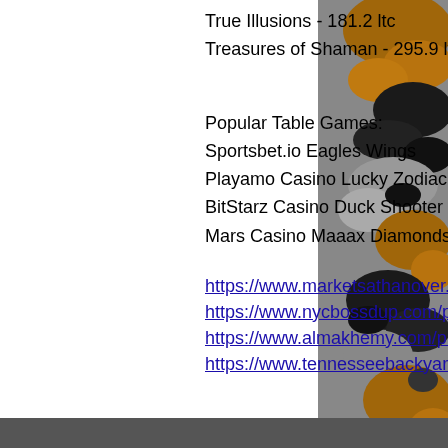True Illusions - 181.2 ltc
Treasures of Shaman - 295.9 ltc
Popular Table Games:
Sportsbet.io Eagles Wings
Playamo Casino Lucky Zodiac
BitStarz Casino Duck Shooter moorhuhn Shooter
Mars Casino Maaax Diamonds Golden Nights
https://www.marketsathanover.com/profile/refugiopetry7520205/profile https://www.nycbossdup.com/profile/ellisreiley8982251/profile https://www.almakhemy.com/profile/bricedobes11227463/profile https://www.tennesseebackyard.com/profile/zettaperie5784593/profile
[Figure (illustration): Camouflage pattern side panel with brown, black, and gray colors on the right side of the page]